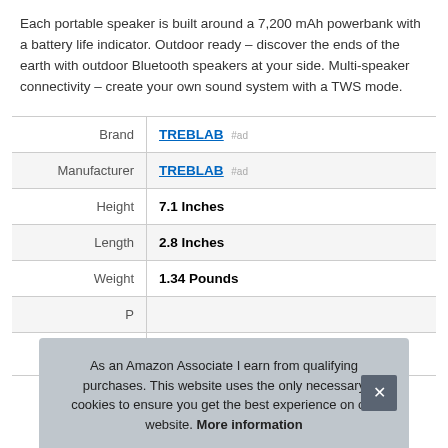Each portable speaker is built around a 7,200 mAh powerbank with a battery life indicator. Outdoor ready – discover the ends of the earth with outdoor Bluetooth speakers at your side. Multi-speaker connectivity – create your own sound system with a TWS mode.
| Brand | TREBLAB #ad |
| Manufacturer | TREBLAB #ad |
| Height | 7.1 Inches |
| Length | 2.8 Inches |
| Weight | 1.34 Pounds |
| P |  |
As an Amazon Associate I earn from qualifying purchases. This website uses the only necessary cookies to ensure you get the best experience on our website. More information